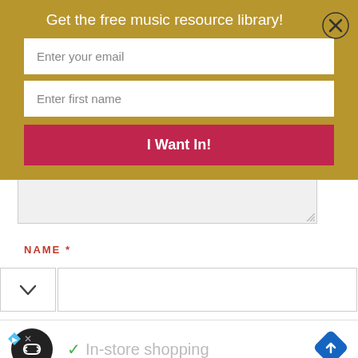Get the free music resource library!
Enter your email
Enter first name
I Want In!
NAME *
[Figure (screenshot): Email signup popup with gold/brown background, two input fields (Enter your email, Enter first name), a crimson button labeled I Want In!, and an X close button]
In-store shopping
[Figure (logo): Black circular logo with double infinity/loop arrows symbol]
[Figure (other): Blue diamond navigation arrow icon]